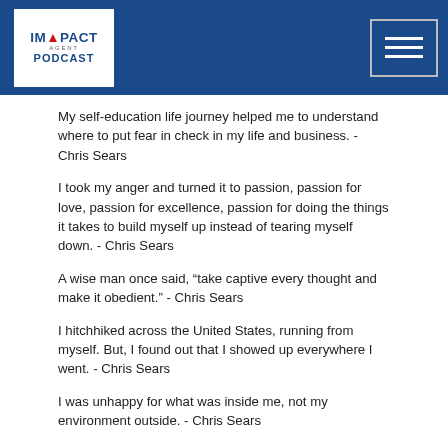Impact Agent Podcast
My self-education life journey helped me to understand where to put fear in check in my life and business. - Chris Sears
I took my anger and turned it to passion, passion for love, passion for excellence, passion for doing the things it takes to build myself up instead of tearing myself down. - Chris Sears
A wise man once said, “take captive every thought and make it obedient.” - Chris Sears
I hitchhiked across the United States, running from myself. But, I found out that I showed up everywhere I went. - Chris Sears
I was unhappy for what was inside me, not my environment outside. - Chris Sears